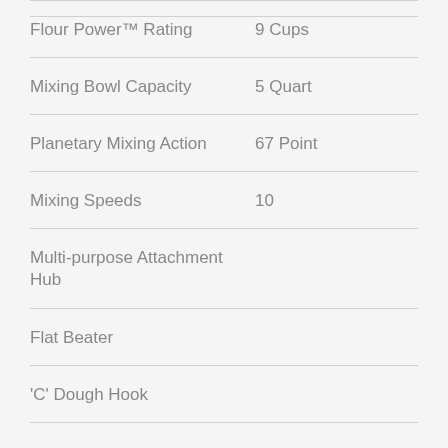| Feature | Value |
| --- | --- |
| Flour Power™ Rating | 9 Cups |
| Mixing Bowl Capacity | 5 Quart |
| Planetary Mixing Action | 67 Point |
| Mixing Speeds | 10 |
| Multi-purpose Attachment Hub |  |
| Flat Beater |  |
| 'C' Dough Hook |  |